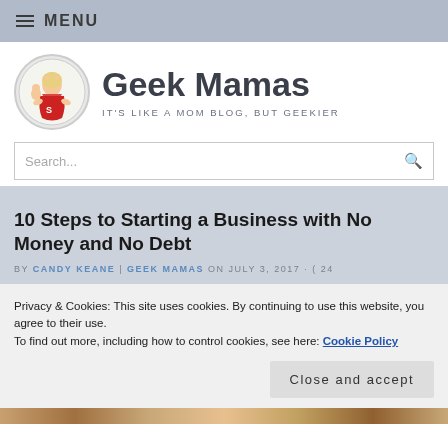≡ MENU
Geek Mamas
IT'S LIKE A MOM BLOG, BUT GEEKIER
Search...
10 Steps to Starting a Business with No Money and No Debt
BY CANDY KEANE | GEEK MAMAS ON JULY 3, 2017 · ( 24
Privacy & Cookies: This site uses cookies. By continuing to use this website, you agree to their use.
To find out more, including how to control cookies, see here: Cookie Policy
Close and accept